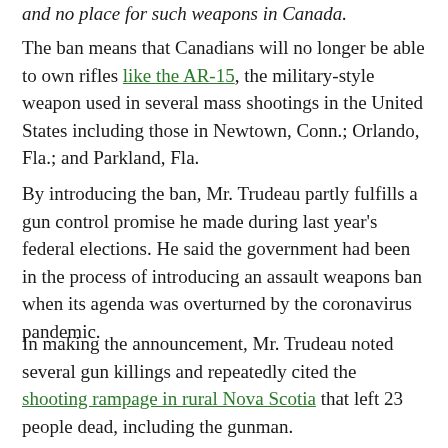…and no place for such weapons in Canada.
The ban means that Canadians will no longer be able to own rifles like the AR-15, the military-style weapon used in several mass shootings in the United States including those in Newtown, Conn.; Orlando, Fla.; and Parkland, Fla.
By introducing the ban, Mr. Trudeau partly fulfills a gun control promise he made during last year's federal elections. He said the government had been in the process of introducing an assault weapons ban when its agenda was overturned by the coronavirus pandemic.
In making the announcement, Mr. Trudeau noted several gun killings and repeatedly cited the shooting rampage in rural Nova Scotia that left 23 people dead, including the gunman.
The gunman's arsenal included two models banned on Friday, said Bill Blair, the country's public safety minister.